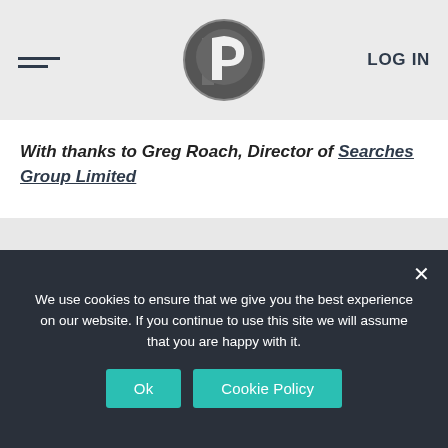LOG IN
With thanks to Greg Roach, Director of Searches Group Limited
SHARE THIS ARTICLE
FACEBOOK – TWITTER – LINKEDIN
We use cookies to ensure that we give you the best experience on our website. If you continue to use this site we will assume that you are happy with it.